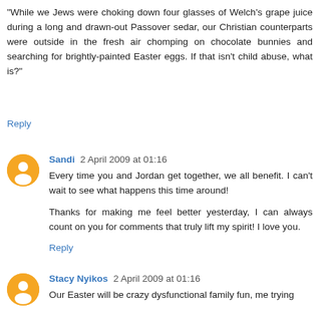"While we Jews were choking down four glasses of Welch's grape juice during a long and drawn-out Passover sedar, our Christian counterparts were outside in the fresh air chomping on chocolate bunnies and searching for brightly-painted Easter eggs. If that isn't child abuse, what is?"
Reply
Sandi 2 April 2009 at 01:16
Every time you and Jordan get together, we all benefit. I can't wait to see what happens this time around!

Thanks for making me feel better yesterday, I can always count on you for comments that truly lift my spirit! I love you.
Reply
Stacy Nyikos 2 April 2009 at 01:16
Our Easter will be crazy dysfunctional family fun, me trying